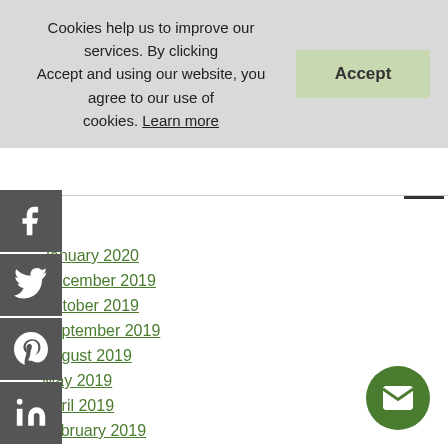Cookies help us to improve our services. By clicking Accept and using our website, you agree to our use of cookies. Learn more
January 2020
December 2019
October 2019
September 2019
August 2019
May 2019
April 2019
February 2019
January 2019
November 2018
October 2018
August 2018
May 2018